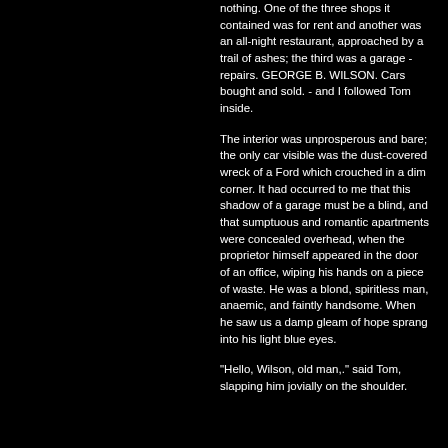nothing. One of the three shops it contained was for rent and another was an all-night restaurant, approached by a trail of ashes; the third was a garage - repairs. GEORGE B. WILSON. Cars bought and sold. - and I followed Tom inside.
The interior was unprosperous and bare; the only car visible was the dust-covered wreck of a Ford which crouched in a dim corner. It had occurred to me that this shadow of a garage must be a blind, and that sumptuous and romantic apartments were concealed overhead, when the proprietor himself appeared in the door of an office, wiping his hands on a piece of waste. He was a blond, spiritless man, anaemic, and faintly handsome. When he saw us a damp gleam of hope sprang into his light blue eyes.
"Hello, Wilson, old man,." said Tom, slapping him jovially on the shoulder.